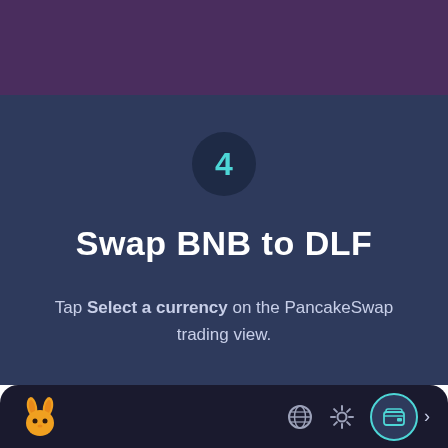[Figure (screenshot): Purple top bar section of a mobile app screen]
[Figure (infographic): Step 4 circle badge with teal number 4 on dark navy background]
Swap BNB to DLF
Tap Select a currency on the PancakeSwap trading view.
[Figure (screenshot): PancakeSwap mobile app bottom navigation bar with bunny logo, globe, settings, and wallet icons]